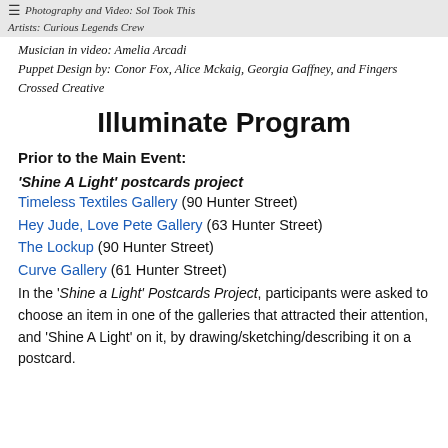Photography and Video: Sol Took This
Artists: Curious Legends Crew
Musician in video: Amelia Arcadi
Puppet Design by: Conor Fox, Alice Mckaig, Georgia Gaffney, and Fingers Crossed Creative
Illuminate Program
Prior to the Main Event:
'Shine A Light' postcards project
Timeless Textiles Gallery (90 Hunter Street)
Hey Jude, Love Pete Gallery (63 Hunter Street)
The Lockup (90 Hunter Street)
Curve Gallery (61 Hunter Street)
In the 'Shine a Light' Postcards Project, participants were asked to choose an item in one of the galleries that attracted their attention, and 'Shine A Light' on it, by drawing/sketching/describing it on a postcard.